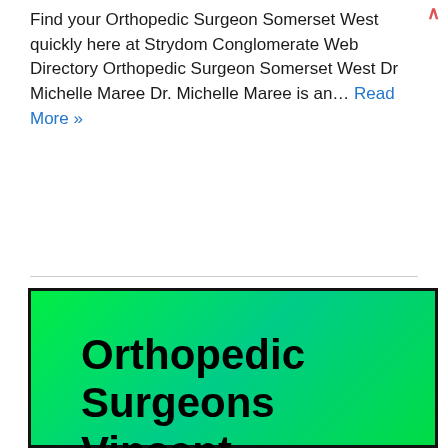Find your Orthopedic Surgeon Somerset West quickly here at Strydom Conglomerate Web Directory Orthopedic Surgeon Somerset West Dr Michelle Maree Dr. Michelle Maree is an… Read More »
[Figure (illustration): Green gradient background image with bold black text reading 'Orthopedic Surgeons Vincent Pallotti Hospital', surrounded by a thick black border]